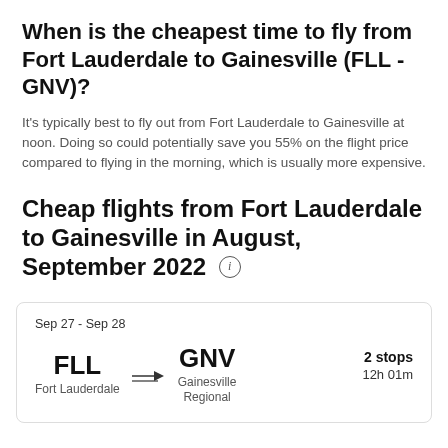When is the cheapest time to fly from Fort Lauderdale to Gainesville (FLL - GNV)?
It's typically best to fly out from Fort Lauderdale to Gainesville at noon. Doing so could potentially save you 55% on the flight price compared to flying in the morning, which is usually more expensive.
Cheap flights from Fort Lauderdale to Gainesville in August, September 2022
| Date | Route | Stops | Duration |
| --- | --- | --- | --- |
| Sep 27 - Sep 28 | FLL → GNV (Fort Lauderdale → Gainesville Regional) | 2 stops | 12h 01m |